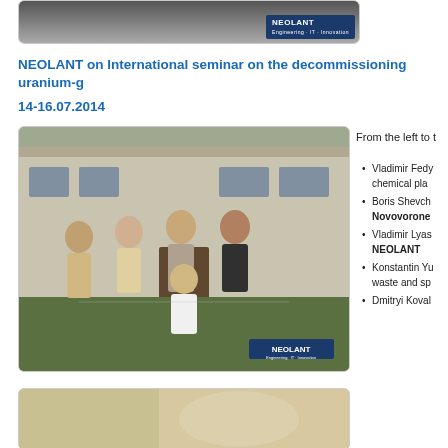[Figure (photo): Group photo with NEOLANT logo banner at top]
NEOLANT on International seminar on the decommissioning uranium-g 14-16.07.2014
[Figure (photo): Group photo of five men standing outside a building with NEOLANT logo]
From the left to t
Vladimir Fedy chemical pla
Boris Shevch Novovorone
Vladimir Lyas NEOLANT
Konstantin Yu waste and sp
Dmitryi Koval
[Figure (photo): Indoor seminar room photo]